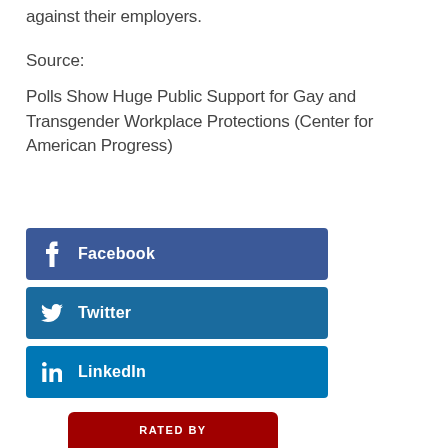against their employers.
Source:
Polls Show Huge Public Support for Gay and Transgender Workplace Protections (Center for American Progress)
[Figure (other): Facebook share button - dark blue rounded rectangle with Facebook icon and bold white text 'Facebook']
[Figure (other): Twitter share button - medium blue rounded rectangle with Twitter bird icon and bold white text 'Twitter']
[Figure (other): LinkedIn share button - lighter blue rounded rectangle with LinkedIn icon and bold white text 'LinkedIn']
[Figure (other): Partial red rounded rectangle bar at bottom with white text 'RATED BY']